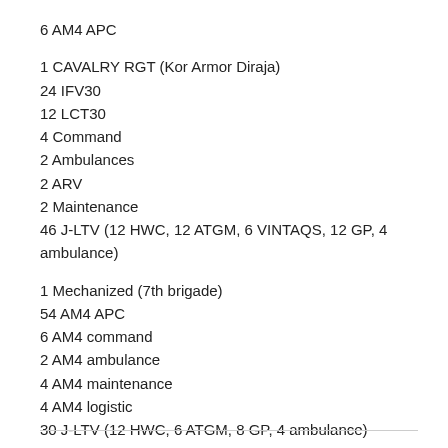6 AM4 APC
1 CAVALRY RGT (Kor Armor Diraja)
24 IFV30
12 LCT30
4 Command
2 Ambulances
2 ARV
2 Maintenance
46 J-LTV (12 HWC, 12 ATGM, 6 VINTAQS, 12 GP, 4 ambulance)
1 Mechanized (7th brigade)
54 AM4 APC
6 AM4 command
2 AM4 ambulance
4 AM4 maintenance
4 AM4 logistic
30 J-LTV (12 HWC, 6 ATGM, 8 GP, 4 ambulance)